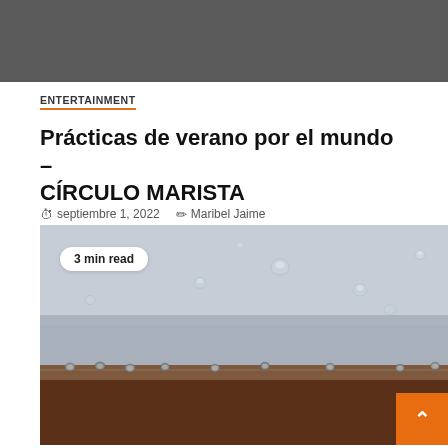[Figure (photo): Dark gray top banner image strip]
ENTERTAINMENT
Prácticas de verano por el mundo – CÍRCULO MARISTA
septiembre 1, 2022   Maribel Jaime
[Figure (photo): Close-up macro photograph of a dark metal or rubber surface with water droplets and small rivets/studs along a horizontal line. A '3 min read' badge is overlaid on the top-left of the image. An orange back-to-top arrow button is in the bottom-right corner.]